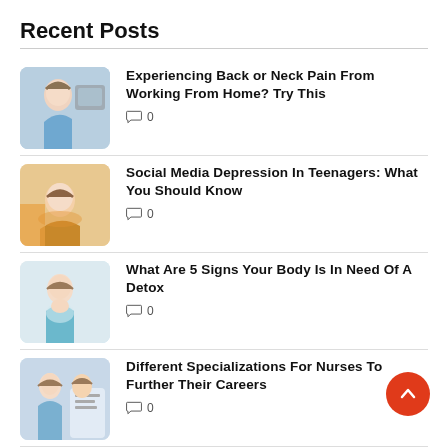Recent Posts
Experiencing Back or Neck Pain From Working From Home? Try This  0
Social Media Depression In Teenagers: What You Should Know  0
What Are 5 Signs Your Body Is In Need Of A Detox  0
Different Specializations For Nurses To Further Their Careers  0